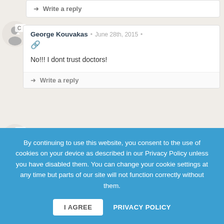Write a reply
George Kouvakas • June 28th, 2015 •
No!!! I dont trust doctors!
Write a reply
TJ Todorov • June 28th, 2015 •
By continuing to use this website, you consent to the use of cookies on your device as described in our Privacy Policy unless you have disabled them. You can change your cookie settings at any time but parts of our site will not function correctly without them.
I AGREE
PRIVACY POLICY